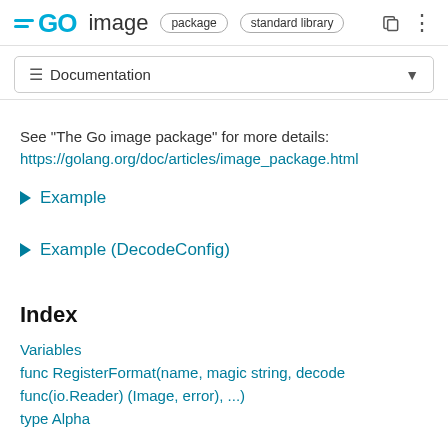GO image package standard library
≡ Documentation
See "The Go image package" for more details: https://golang.org/doc/articles/image_package.html
▶ Example
▶ Example (DecodeConfig)
Index
Variables
func RegisterFormat(name, magic string, decode func(io.Reader) (Image, error), ...)
type Alpha